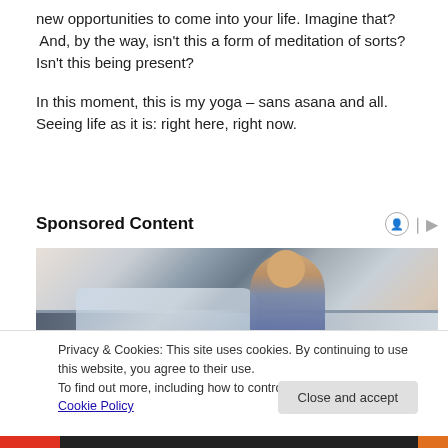new opportunities to come into your life. Imagine that? And, by the way, isn't this a form of meditation of sorts? Isn't this being present?

In this moment, this is my yoga – sans asana and all. Seeing life as it is: right here, right now.
Sponsored Content
[Figure (photo): A man looking at or leaning over a car, shot from the side, in what appears to be an automotive dealership or shop setting.]
Privacy & Cookies: This site uses cookies. By continuing to use this website, you agree to their use.
To find out more, including how to control cookies, see here: Cookie Policy
Close and accept